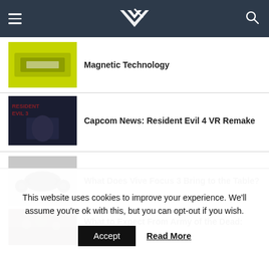VR [logo] — navigation header
Magnetic Technology
[Figure (photo): Yellow rugged device/case product photo]
Capcom News: Resident Evil 4 VR Remake
[Figure (photo): Resident Evil game cover art screenshot]
What Does Vive Focus 3 Bring to the Table?
[Figure (photo): Vive Focus 3 VR headset and controllers on grey background]
What to Expect From Army of the Dead: Viva
[Figure (photo): Army of the Dead game screenshot]
This website uses cookies to improve your experience. We'll assume you're ok with this, but you can opt-out if you wish.
Accept
Read More